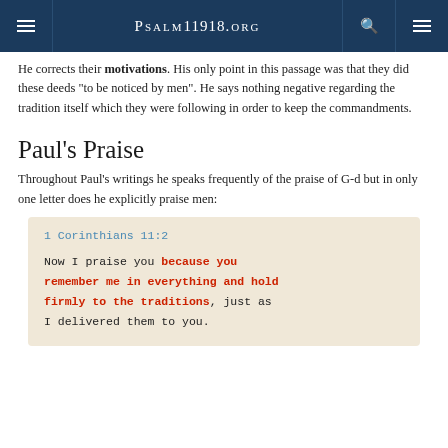Psalm11918.org
He corrects their motivations. His only point in this passage was that they did these deeds "to be noticed by men". He says nothing negative regarding the tradition itself which they were following in order to keep the commandments.
Paul's Praise
Throughout Paul's writings he speaks frequently of the praise of G-d but in only one letter does he explicitly praise men:
1 Corinthians 11:2

Now I praise you because you remember me in everything and hold firmly to the traditions, just as I delivered them to you.